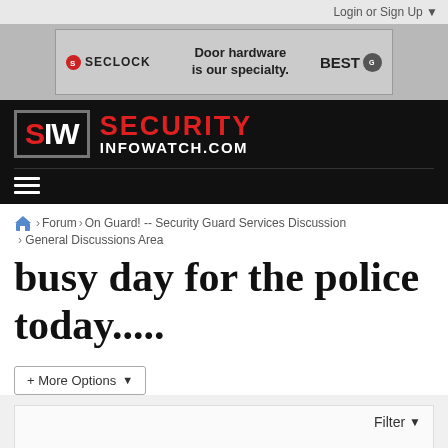Login or Sign Up ▼
[Figure (illustration): SECLOCK advertisement banner: 'Door hardware is our specialty.' with BEST logo]
[Figure (logo): SIW Security InfoWatch.com logo on black navigation bar with hamburger menu]
Forum > On Guard! -- Security Guard Services Discussion > General Discussions Area
busy day for the police today.....
+ More Options ▼
Filter ▼